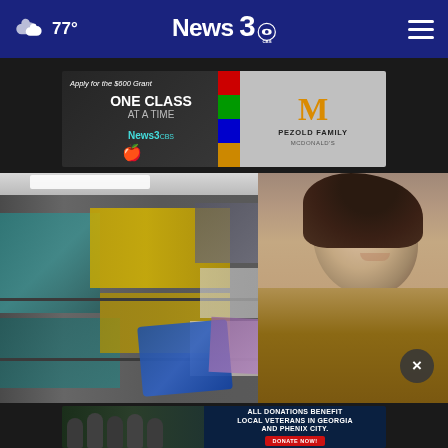77° News 3 CBS
[Figure (photo): Advertisement banner: 'Apply for the $600 Grant' / 'ONE CLASS AT A TIME News3' / Pezold Family McDonald's]
[Figure (photo): Woman smiling in a grocery store with shelves of products in the background]
[Figure (photo): Advertisement banner: 'ALL DONATIONS BENEFIT LOCAL VETERANS IN GEORGIA AND PHENIX CITY. DONATE NOW!']